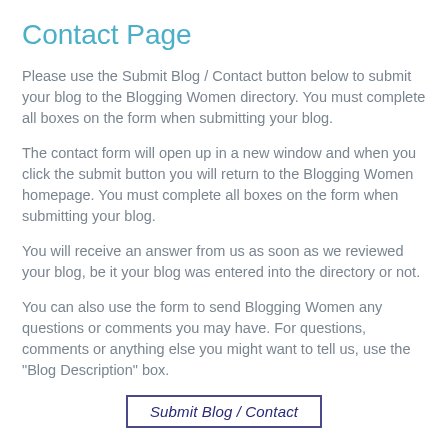Contact Page
Please use the Submit Blog / Contact button below to submit your blog to the Blogging Women directory. You must complete all boxes on the form when submitting your blog.
The contact form will open up in a new window and when you click the submit button you will return to the Blogging Women homepage. You must complete all boxes on the form when submitting your blog.
You will receive an answer from us as soon as we reviewed your blog, be it your blog was entered into the directory or not.
You can also use the form to send Blogging Women any questions or comments you may have. For questions, comments or anything else you might want to tell us, use the "Blog Description" box.
Submit Blog / Contact